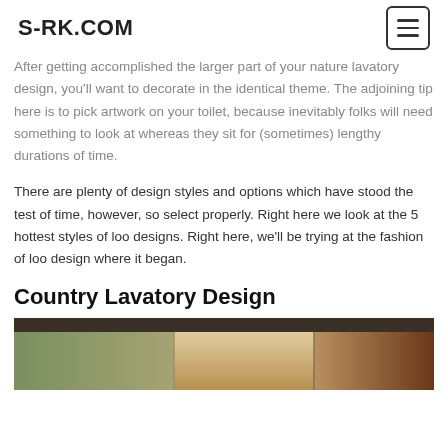S-RK.COM
After getting accomplished the larger part of your nature lavatory design, you'll want to decorate in the identical theme. The adjoining tip here is to pick artwork on your toilet, because inevitably folks will need something to look at whereas they sit for (sometimes) lengthy durations of time.
There are plenty of design styles and options which have stood the test of time, however, so select properly. Right here we look at the 5 hottest styles of loo designs. Right here, we'll be trying at the fashion of loo design where it began.
Country Lavatory Design
[Figure (photo): Partial photo of a country-style lavatory/bathroom interior showing warm earth tones, tiled walls and wooden cabinetry]